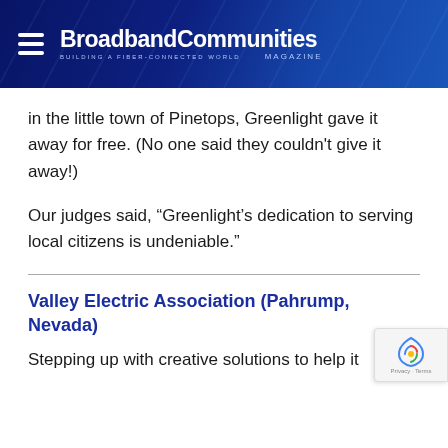BroadbandCommunities MAGAZINE — BUILDING A FIBER-CONNECTED WORLD
in the little town of Pinetops, Greenlight gave it away for free. (No one said they couldn't give it away!)
Our judges said, “Greenlight’s dedication to serving local citizens is undeniable.”
Valley Electric Association (Pahrump, Nevada)
Stepping up with creative solutions to help it...